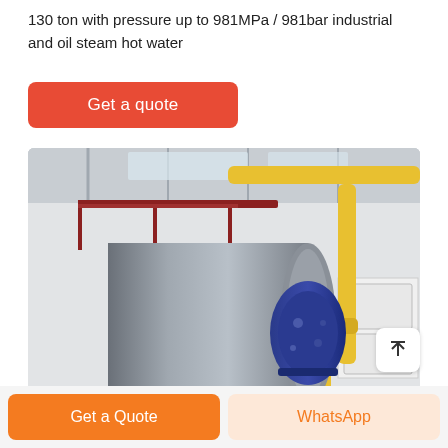130 ton with pressure up to 981MPa / 981bar industrial and oil steam hot water
Get a quote
[Figure (photo): Industrial boiler in a factory setting. A large horizontal cylindrical steel boiler with a blue burner assembly on the front end, mounted on a black frame. Yellow gas pipes run overhead and along the wall. Red metal walkway/platform above the boiler. White wall units on the right side. Industrial ceiling with metal beams and skylights.]
Get a Quote
WhatsApp